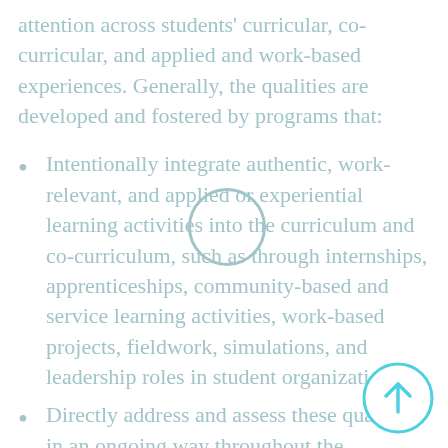attention across students' curricular, co-curricular, and applied and work-based experiences. Generally, the qualities are developed and fostered by programs that:
Intentionally integrate authentic, work-relevant, and applied or experiential learning activities into the curriculum and co-curriculum, such as through internships, apprenticeships, community-based and service learning activities, work-based projects, fieldwork, simulations, and leadership roles in student organizations.
Directly address and assess these qualities in an ongoing way throughout the...